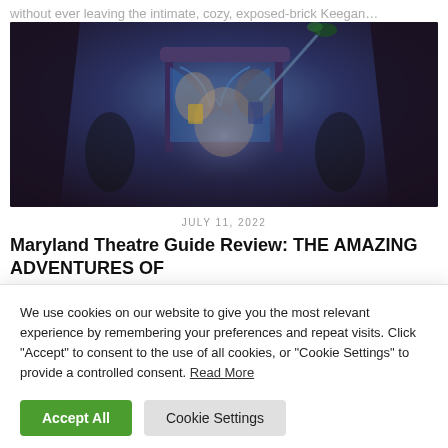without ever leaving the intimate, cozy, exposed-brick Keegan…
[Figure (photo): Theatre stage photo showing three performers: one in front wearing a light jacket and black shirt gesturing with both hands, two others behind standing near an ornate headboard with blue draping and fabric, set against a dramatic dark backdrop with shadows.]
JULY 11, 2022
Maryland Theatre Guide Review: THE AMAZING ADVENTURES OF
We use cookies on our website to give you the most relevant experience by remembering your preferences and repeat visits. Click "Accept" to consent to the use of all cookies, or "Cookie Settings" to provide a controlled consent. Read More